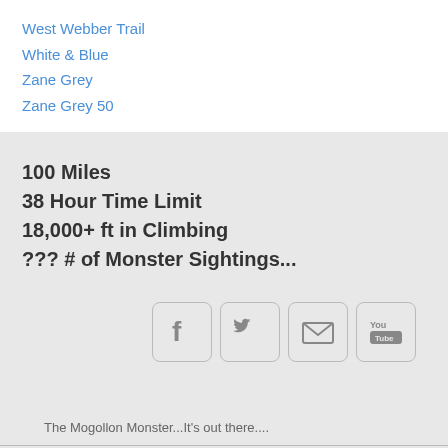West Webber Trail
White & Blue
Zane Grey
Zane Grey 50
100 Miles
38 Hour Time Limit
18,000+ ft in Climbing
??? # of Monster Sightings...
[Figure (other): Social media icons: Facebook, Twitter, Email, YouTube]
The Mogollon Monster...It's out there....
Version: Mobile | Web